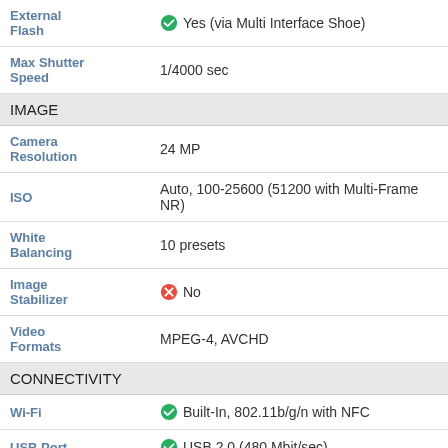| Feature | Value |
| --- | --- |
| External Flash | Yes (via Multi Interface Shoe) |
| Max Shutter Speed | 1/4000 sec |
| IMAGE |  |
| Camera Resolution | 24 MP |
| ISO | Auto, 100-25600 (51200 with Multi-Frame NR) |
| White Balancing | 10 presets |
| Image Stabilizer | No |
| Video Formats | MPEG-4, AVCHD |
| CONNECTIVITY |  |
| Wi-Fi | Built-In, 802.11b/g/n with NFC |
| USB Port | USB 2.0 (480 Mbit/sec) |
| HDMI | Yes (micro-HDMI) |
| Microphone | Stereo, No |